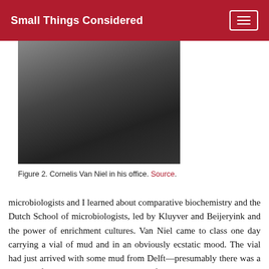Small Things Considered
[Figure (photo): Black and white photograph of Cornelis Van Niel in his office, seated and looking at papers.]
Figure 2. Cornelis Van Niel in his office. Source.
microbiologists and I learned about comparative biochemistry and the Dutch School of microbiologists, led by Kluyver and Beijeryink and the power of enrichment cultures. Van Niel came to class one day carrying a vial of mud and in an obviously ecstatic mood. The vial had just arrived with some mud from Delft—presumably there was a wealth of microbiology in the sludge of the Dutch canals. Van Niel had been studying photosynthetic sulfur bacteria and saw that the analogy between the stoichiometry of anaerobic photosynthesis (CO2 + 2H2S — (CH2O) + H2O + 2S) and green plant photosynthesis implied that the oxygen evolved in photosynthesis came from the water. We studied sulfur bacteria and nitrogen fixation and